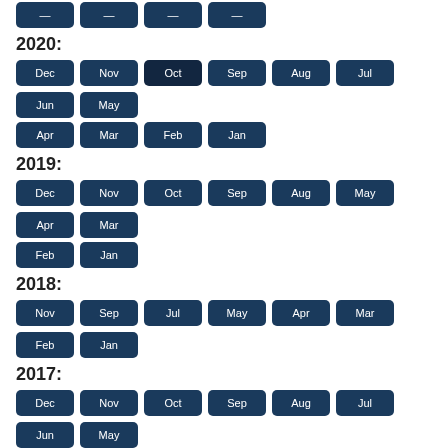2020: Dec, Nov, Oct, Sep, Aug, Jul, Jun, May, Apr, Mar, Feb, Jan
2019: Dec, Nov, Oct, Sep, Aug, May, Apr, Mar, Feb, Jan
2018: Nov, Sep, Jul, May, Apr, Mar, Feb, Jan
2017: Dec, Nov, Oct, Sep, Aug, Jul, Jun, May